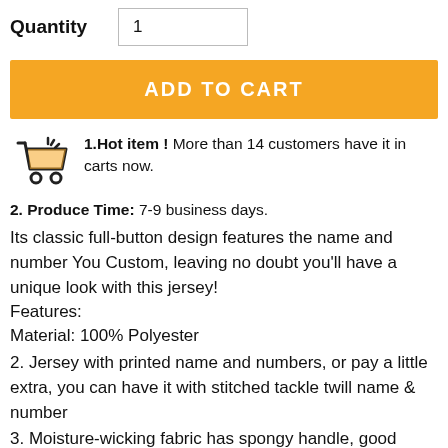Quantity   1
ADD TO CART
1.Hot item ! More than 14 customers have it in carts now.
2. Produce Time: 7-9 business days.
Its classic full-button design features the name and number You Custom, leaving no doubt you'll have a unique look with this jersey!
Features:
Material: 100% Polyester
2. Jersey with printed name and numbers, or pay a little extra, you can have it with stitched tackle twill name & number
3. Moisture-wicking fabric has spongy handle, good